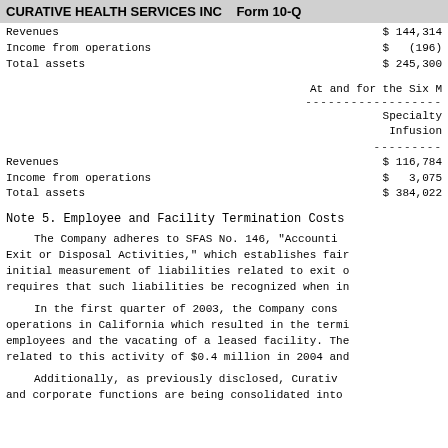CURATIVE HEALTH SERVICES INC   Form 10-Q
|  |  |
| --- | --- |
| Revenues | $ 144,314 |
| Income from operations | $   (196) |
| Total assets | $ 245,300 |
At and for the Six M
| Specialty Infusion |  |
| --- | --- |
| Revenues | $ 116,784 |
| Income from operations | $   3,075 |
| Total assets | $ 384,022 |
Note 5. Employee and Facility Termination Costs
The Company adheres to SFAS No. 146, "Accounti Exit or Disposal Activities," which establishes fair initial measurement of liabilities related to exit o requires that such liabilities be recognized when in
In the first quarter of 2003, the Company cons operations in California which resulted in the termi employees and the vacating of a leased facility. The related to this activity of $0.4 million in 2004 and
Additionally, as previously disclosed, Curativ and corporate functions are being consolidated into